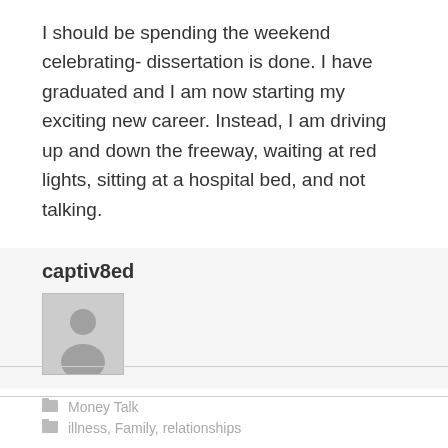I should be spending the weekend celebrating- dissertation is done. I have graduated and I am now starting my exciting new career. Instead, I am driving up and down the freeway, waiting at red lights, sitting at a hospital bed, and not talking.
captiv8ed
[Figure (illustration): Default user avatar placeholder — grey silhouette of a person on light grey background]
Money Talk
illness, Family, relationships